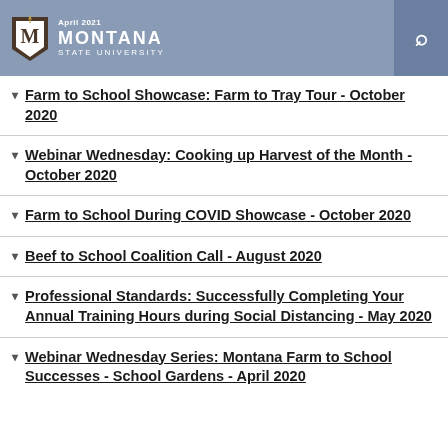April 2021 — Montana State University
Farm to School Showcase: Farm to Tray Tour - October 2020
Webinar Wednesday: Cooking up Harvest of the Month - October 2020
Farm to School During COVID Showcase - October 2020
Beef to School Coalition Call - August 2020
Professional Standards: Successfully Completing Your Annual Training Hours during Social Distancing - May 2020
Webinar Wednesday Series: Montana Farm to School Successes - School Gardens - April 2020